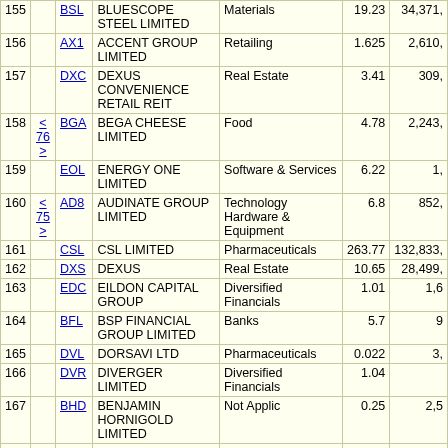| # |  | Code | Name | Sector | Price | Mkt Cap |
| --- | --- | --- | --- | --- | --- | --- |
| 155 |  | BSL | BLUESCOPE STEEL LIMITED | Materials | 19.23 | 34,371,… |
| 156 |  | AX1 | ACCENT GROUP LIMITED | Retailing | 1.625 | 2,610,… |
| 157 |  | DXC | DEXUS CONVENIENCE RETAIL REIT | Real Estate | 3.41 | 309,… |
| 158 | < 76 > | BGA | BEGA CHEESE LIMITED | Food | 4.78 | 2,243,… |
| 159 |  | EOL | ENERGY ONE LIMITED | Software & Services | 6.22 | 1,… |
| 160 | < 75 > | AD8 | AUDINATE GROUP LIMITED | Technology Hardware & Equipment | 6.8 | 852,… |
| 161 |  | CSL | CSL LIMITED | Pharmaceuticals | 263.77 | 132,833,… |
| 162 |  | DXS | DEXUS | Real Estate | 10.65 | 28,499,… |
| 163 |  | EDC | EILDON CAPITAL GROUP | Diversified Financials | 1.01 | 1,6… |
| 164 |  | BFL | BSP FINANCIAL GROUP LIMITED | Banks | 5.7 | 9… |
| 165 |  | DVL | DORSAVI LTD | Pharmaceuticals | 0.022 | 3,… |
| 166 |  | DVR | DIVERGER LIMITED | Diversified Financials | 1.04 |  |
| 167 |  | BHD | BENJAMIN HORNIGOLD LIMITED | Not Applic | 0.25 | 2,5… |
| 168 |  | BMG | BMG RESOURCES LIMITED | Materials | 0.037 | 39,… |